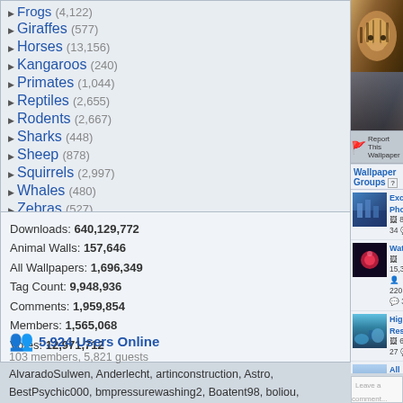Frogs (4,122)
Giraffes (577)
Horses (13,156)
Kangaroos (240)
Primates (1,044)
Reptiles (2,655)
Rodents (2,667)
Sharks (448)
Sheep (878)
Squirrels (2,997)
Whales (480)
Zebras (527)
Other (26,757)
Downloads: 640,129,772
Animal Walls: 157,646
All Wallpapers: 1,696,349
Tag Count: 9,948,936
Comments: 1,959,854
Members: 1,565,068
Votes: 12,971,712
5,924 Users Online
103 members, 5,821 guests
AlvaradoSulwen, Anderlecht, artinconstruction, Astro, BestPsychic000, bmpressurewashing2, Boatent98, boliou, brandbajade, bridgecounseling, brighterfinance, CarrollDentistry, cell-phone-hacking, chatonfragile, Cleaners567, ColbyRichardson,
[Figure (screenshot): Tiger/animal wallpaper image cropped at top]
Report This Wallpaper
Wallpaper Groups
Excellent Photography
8,283  34  9
Water
15,380  220  3
High Resolution
6,746  27  7
All Large Animals
674  21  7
Leave a comment...
Wallpaper Comments (2)